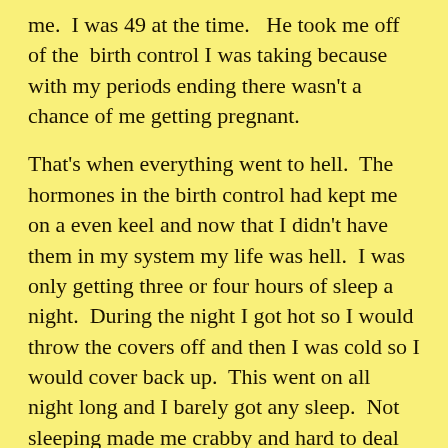me.  I was 49 at the time.   He took me off of the  birth control I was taking because with my periods ending there wasn't a chance of me getting pregnant.
That's when everything went to hell.  The hormones in the birth control had kept me on a even keel and now that I didn't have them in my system my life was hell.  I was only getting three or four hours of sleep a night.  During the night I got hot so I would throw the covers off and then I was cold so I would cover back up.  This went on all night long and I barely got any sleep.  Not sleeping made me crabby and hard to deal with.  And I was especially pissy about the weight gain.  Before this weight gain